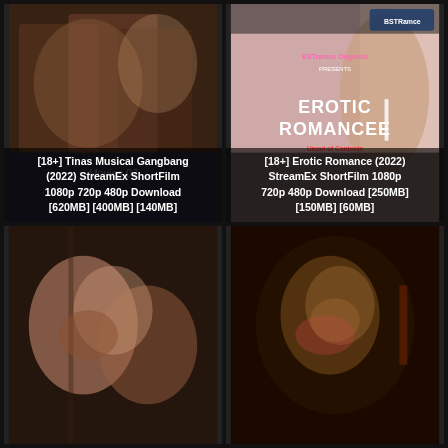[Figure (photo): Movie thumbnail 1 - group scene with text overlay: [18+] Tinas Musical Gangbang (2022) StreamEx ShortFilm 1080p 720p 480p Download [620MB] [400MB] [140MB]]
[Figure (photo): Movie thumbnail 2 - Erotic Romancee poster with text overlay: [18+] Erotic Romance (2022) StreamEx ShortFilm 1080p 720p 480p Download [250MB] [150MB] [60MB]]
[Figure (photo): Movie thumbnail 3 - couple scene, no visible text overlay]
[Figure (photo): Movie thumbnail 4 - close-up face scene, no visible text overlay]